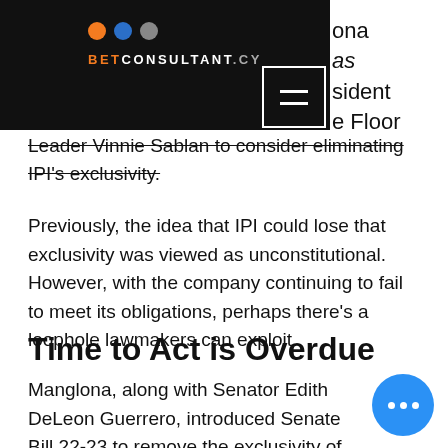[Figure (logo): BetConsultant.cy logo with orange, blue, and gray dots on black header bar, with hamburger menu icon]
ona
as
sident
e Floor
Leader Vinnie Sablan to consider eliminating IPI's exclusivity.
Previously, the idea that IPI could lose that exclusivity was viewed as unconstitutional. However, with the company continuing to fail to meet its obligations, perhaps there's a loophole lawmakers can exploit.
Time to Act is Overdue
Manglona, along with Senator Edith DeLeon Guerrero, introduced Senate Bill 22-23 to remove the exclusivity of